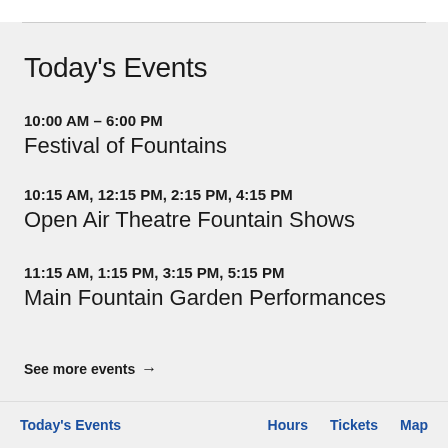Today's Events
10:00 AM – 6:00 PM
Festival of Fountains
10:15 AM, 12:15 PM, 2:15 PM, 4:15 PM
Open Air Theatre Fountain Shows
11:15 AM, 1:15 PM, 3:15 PM, 5:15 PM
Main Fountain Garden Performances
See more events →
Mobile Map
Today's Events    Hours    Tickets    Map